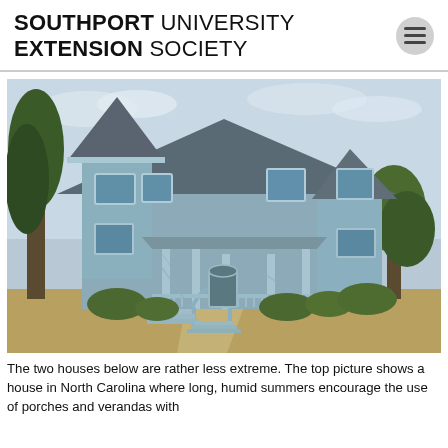SOUTHPORT UNIVERSITY EXTENSION SOCIETY
[Figure (photo): A large Victorian-style house painted pale blue/grey with ornate woodwork, a corner turret, circular window, wrap-around porch with decorative railings, arched entry gate, and exterior staircases. The house is surrounded by trees and dry grass under a cloudy sky.]
The two houses below are rather less extreme. The top picture shows a house in North Carolina where long, humid summers encourage the use of porches and verandas with